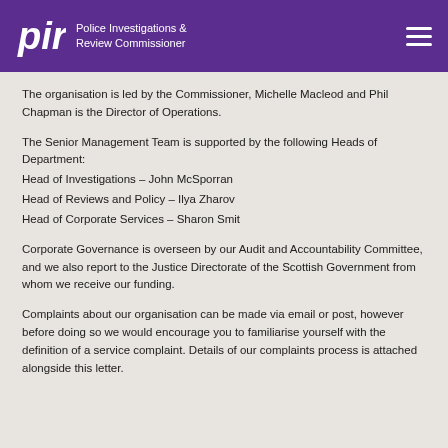pirc Police Investigations & Review Commissioner
The organisation is led by the Commissioner, Michelle Macleod and Phil Chapman is the Director of Operations.
The Senior Management Team is supported by the following Heads of Department:
Head of Investigations – John McSporran
Head of Reviews and Policy – Ilya Zharov
Head of Corporate Services – Sharon Smit
Corporate Governance is overseen by our Audit and Accountability Committee, and we also report to the Justice Directorate of the Scottish Government from whom we receive our funding.
Complaints about our organisation can be made via email or post, however before doing so we would encourage you to familiarise yourself with the definition of a service complaint. Details of our complaints process is attached alongside this letter.